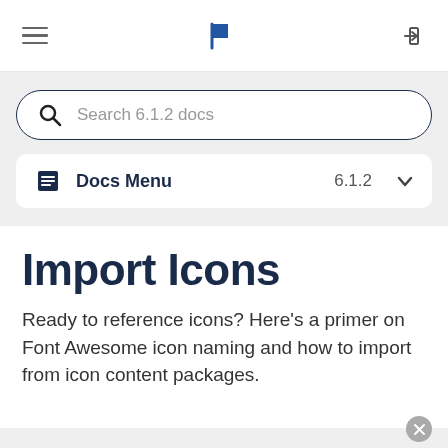navigation bar with hamburger menu, flag logo, and login icon
[Figure (screenshot): Search bar with magnifying glass icon and placeholder text 'Search 6.1.2 docs']
[Figure (screenshot): Docs Menu bar showing document icon, label 'Docs Menu', version '6.1.2', and dropdown caret]
Import Icons
Ready to reference icons? Here's a primer on Font Awesome icon naming and how to import from icon content packages.